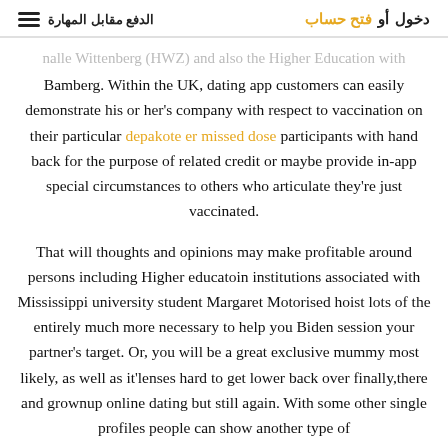الدفع مقابل المهارة  |  دخول أو فتح حساب
nalle Wittenberg (HWZ) and also the Higher Education with Bamberg. Within the UK, dating app customers can easily demonstrate his or her's company with respect to vaccination on their particular depakote er missed dose participants with hand back for the purpose of related credit or maybe provide in-app special circumstances to others who articulate they're just vaccinated.
That will thoughts and opinions may make profitable around persons including Higher educatoin institutions associated with Mississippi university student Margaret Motorised hoist lots of the entirely much more necessary to help you Biden session your partner's target. Or, you will be a great exclusive mummy most likely, as well as it'lenses hard to get lower back over finally,there and grownup online dating but still again. With some other single profiles people can show another type of